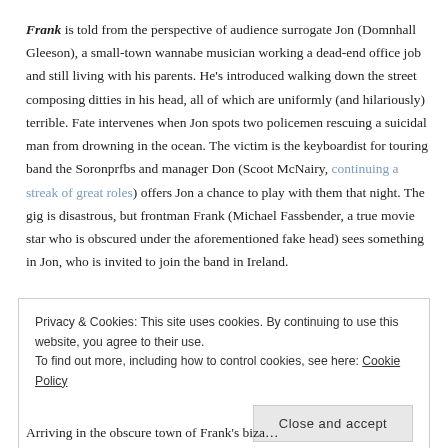Frank is told from the perspective of audience surrogate Jon (Domnhall Gleeson), a small-town wannabe musician working a dead-end office job and still living with his parents. He's introduced walking down the street composing ditties in his head, all of which are uniformly (and hilariously) terrible. Fate intervenes when Jon spots two policemen rescuing a suicidal man from drowning in the ocean. The victim is the keyboardist for touring band the Soronprfbs and manager Don (Scoot McNairy, continuing a streak of great roles) offers Jon a chance to play with them that night. The gig is disastrous, but frontman Frank (Michael Fassbender, a true movie star who is obscured under the aforementioned fake head) sees something in Jon, who is invited to join the band in Ireland.
Privacy & Cookies: This site uses cookies. By continuing to use this website, you agree to their use.
To find out more, including how to control cookies, see here: Cookie Policy
Close and accept
Arriving in the obscure town of Frank's bizarre...